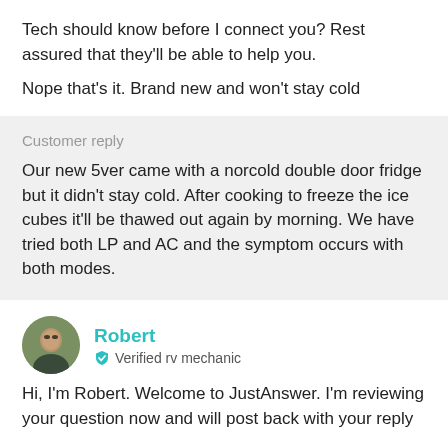Tech should know before I connect you? Rest assured that they'll be able to help you.
Nope that's it. Brand new and won't stay cold
Customer reply
Our new 5ver came with a norcold double door fridge but it didn't stay cold. After cooking to freeze the ice cubes it'll be thawed out again by morning. We have tried both LP and AC and the symptom occurs with both modes.
Robert
Verified rv mechanic
Hi, I'm Robert. Welcome to JustAnswer. I'm reviewing your question now and will post back with your reply